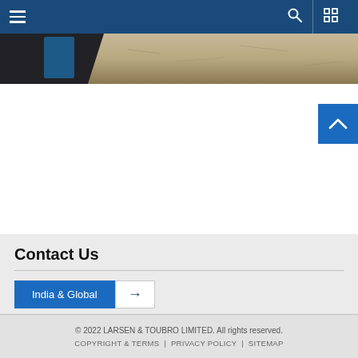Navigation bar with hamburger menu, search icon, and grid icon
[Figure (photo): Partial view of construction machinery and sandy/gravelly ground surface — cropped bottom portion of a banner image]
[Figure (infographic): Blue square button with a white upward-pointing chevron arrow (scroll to top button)]
Contact Us
India & Global →
© 2022 LARSEN & TOUBRO LIMITED. All rights reserved. COPYRIGHT & TERMS | PRIVACY POLICY | SITEMAP